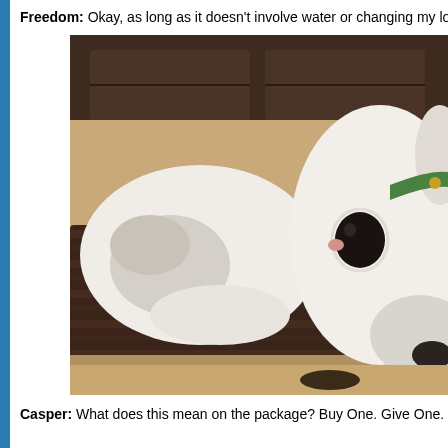Freedom: Okay, as long as it doesn't involve water or changing my love
[Figure (photo): A white dog with a green collar lying with its head resting sideways on a dark brown fluffy mat/rug, looking at the camera with one large dark eye visible. The dog appears to be resting on a patterned blanket on the floor, with dark wood furniture visible in the background.]
Casper: What does this mean on the package? Buy One. Give One.